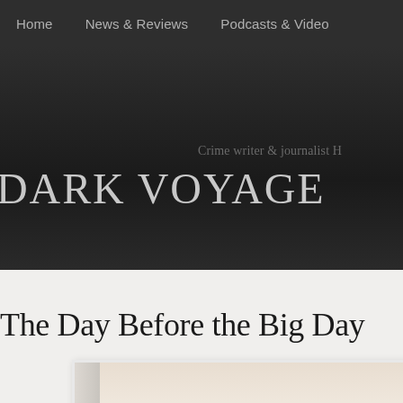Home   News & Reviews   Podcasts & Video
DARK VOYAGE
Crime writer & journalist H
The Day Before the Big Day
[Figure (photo): Portrait photograph of a person, partially visible, warm light tones, white border frame]